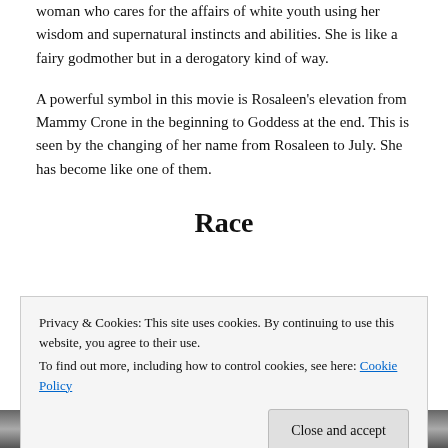woman who cares for the affairs of white youth using her wisdom and supernatural instincts and abilities. She is like a fairy godmother but in a derogatory kind of way.
A powerful symbol in this movie is Rosaleen's elevation from Mammy Crone in the beginning to Goddess at the end. This is seen by the changing of her name from Rosaleen to July. She has become like one of them.
Race
Privacy & Cookies: This site uses cookies. By continuing to use this website, you agree to their use.
To find out more, including how to control cookies, see here: Cookie Policy
[Figure (photo): Black and white photograph, partially visible at bottom of page]